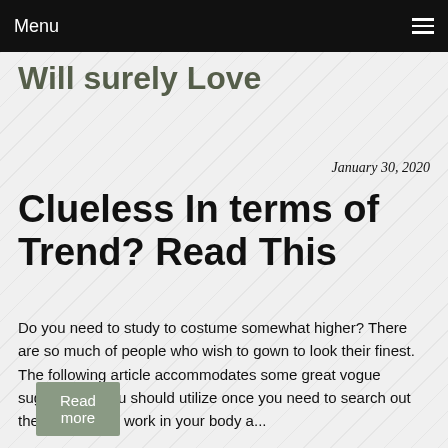Menu
Will surely Love
January 30, 2020
Clueless In terms of Trend? Read This
Do you need to study to costume somewhat higher? There are so much of people who wish to gown to look their finest. The following article accommodates some great vogue suggestions you should utilize once you need to search out the clothes that work in your body a...
Read more